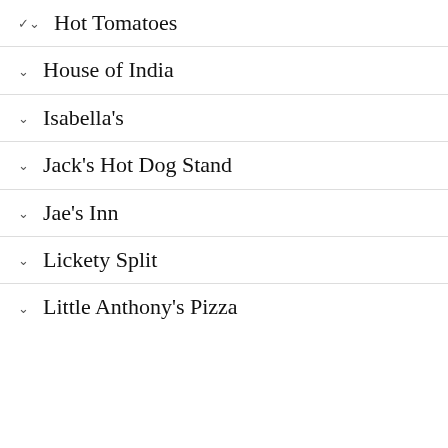Hot Tomatoes
House of India
Isabella's
Jack's Hot Dog Stand
Jae's Inn
Lickety Split
Little Anthony's Pizza